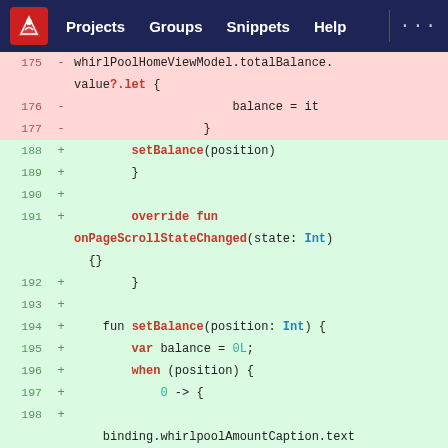[Figure (screenshot): GitLab-style web IDE navigation bar with logo, Projects, Groups, Snippets, Help links on dark navy background]
Code diff view showing deleted lines 175-177 (whirlPoolHomeViewModel.totalBalance.value?.let { balance = it }) and added lines 188-198 (setBalance(position), override fun onPageScrollStateChanged, fun setBalance, var balance = 0L, when (position), 0 -> {, binding.whirlpoolAmountCaption.text = "Total Balance")